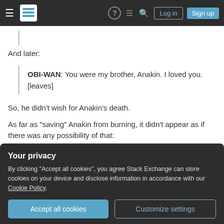Stack Exchange navigation bar with hamburger menu, logo, help, feedback, search, Log in, Sign up
And later:
OBI-WAN: You were my brother, Anakin. I loved you. [leaves]
So, he didn't wish for Anakin's death.
As far as "saving" Anakin from burning, it didn't appear as if there was any possibility of that:
Your privacy
By clicking "Accept all cookies", you agree Stack Exchange can store cookies on your device and disclose information in accordance with our Cookie Policy.
Accept all cookies   Customize settings
Obi-Wan reasonably assumed that Anakin was